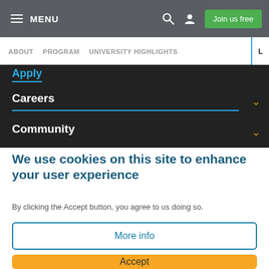MENU | Join us free
ABOUT   PROGRAM   UNIVERSITY HIGHLIGHTS   L
Apply
Careers
Community
We use cookies on this site to enhance your user experience
By clicking the Accept button, you agree to us doing so.
More info
Accept